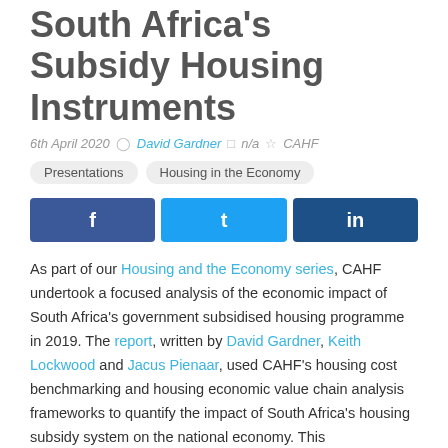South Africa's Subsidy Housing Instruments
6th April 2020  David Gardner  n/a  CAHF
Presentations
Housing in the Economy
[Figure (other): Social share buttons for Facebook, Twitter, and LinkedIn]
As part of our Housing and the Economy series, CAHF undertook a focused analysis of the economic impact of South Africa's government subsidised housing programme in 2019. The report, written by David Gardner, Keith Lockwood and Jacus Pienaar, used CAHF's housing cost benchmarking and housing economic value chain analysis frameworks to quantify the impact of South Africa's housing subsidy system on the national economy. This